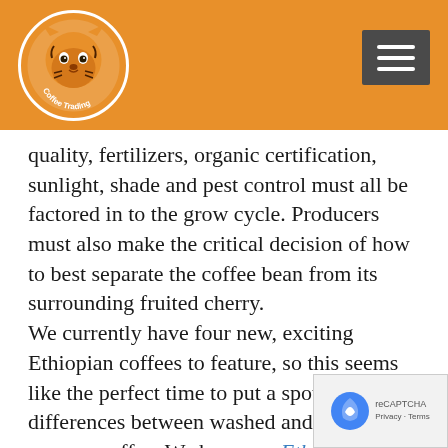Yourkas Coffee Trading - logo and navigation
quality, fertilizers, organic certification, sunlight, shade and pest control must all be factored in to the grow cycle. Producers must also make the critical decision of how to best separate the coffee bean from its surrounding fruited cherry.
We currently have four new, exciting Ethiopian coffees to feature, so this seems like the perfect time to put a spotlight on the differences between washed and natural process coffee. We have our Ethiopia Yirgacheffee Aster Natural, our Ethiopia Yirgacheffee Melaku Washed, our Ethiopia Kochere Zahra Washed, and our Ethiopia ...